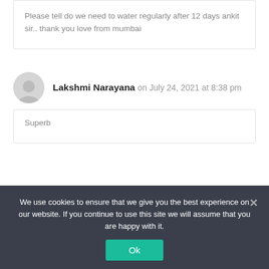Please tell do we need to water regularly after 12 days ankit sir.. thank you love from mumbai
Lakshmi Narayana on July 24, 2021 at 8:38 pm
Superb
We use cookies to ensure that we give you the best experience on our website. If you continue to use this site we will assume that you are happy with it.
Ok